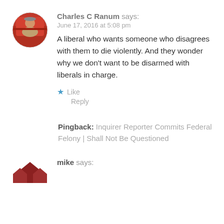[Figure (photo): Circular avatar photo of Charles C Ranum, a person sitting in a red vehicle wearing a cap]
Charles C Ranum says:
June 17, 2016 at 5:08 pm
A liberal who wants someone who disagrees with them to die violently. And they wonder why we don't want to be disarmed with liberals in charge.
★ Like
Reply
Pingback: Inquirer Reporter Commits Federal Felony | Shall Not Be Questioned
[Figure (logo): Red house/roof icon logo for mike]
mike says: